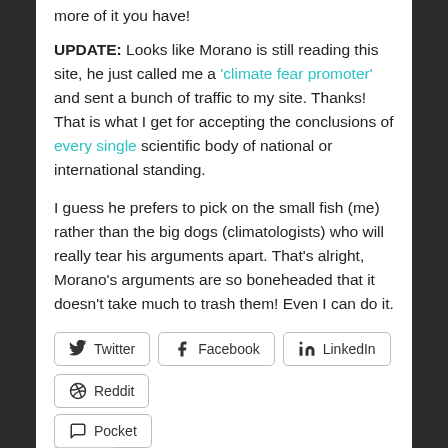more of it you have!
UPDATE: Looks like Morano is still reading this site, he just called me a 'climate fear promoter' and sent a bunch of traffic to my site. Thanks! That is what I get for accepting the conclusions of every single scientific body of national or international standing.
I guess he prefers to pick on the small fish (me) rather than the big dogs (climatologists) who will really tear his arguments apart. That’s alright, Morano’s arguments are so boneheaded that it doesn’t take much to trash them! Even I can do it.
Twitter
Facebook
LinkedIn
Reddit
Pocket